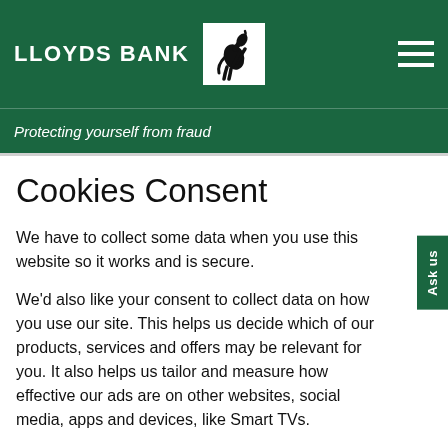LLOYDS BANK
Protecting yourself from fraud
Cookies Consent
We have to collect some data when you use this website so it works and is secure.
We'd also like your consent to collect data on how you use our site. This helps us decide which of our products, services and offers may be relevant for you. It also helps us tailor and measure how effective our ads are on other websites, social media, apps and devices, like Smart TVs.
Select 'Accept all' to agree or 'Manage consents' to choose which cookies we use. You can change your mind, or find out more, by visiting our Cookies Policy
Accept all
Manage consents